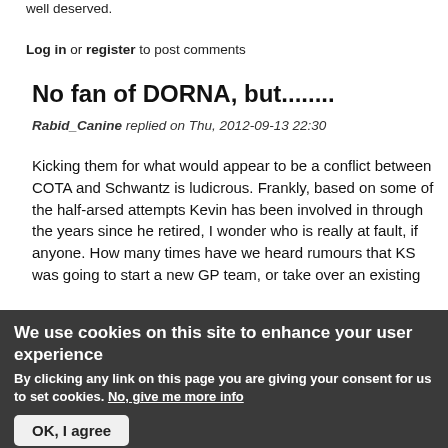well deserved.
Log in or register to post comments
No fan of DORNA, but........
Rabid_Canine replied on Thu, 2012-09-13 22:30
Kicking them for what would appear to be a conflict between COTA and Schwantz is ludicrous. Frankly, based on some of the half-arsed attempts Kevin has been involved in through the years since he retired, I wonder who is really at fault, if anyone. How many times have we heard rumours that KS was going to start a new GP team, or take over an existing
We use cookies on this site to enhance your user experience
By clicking any link on this page you are giving your consent for us to set cookies. No, give me more info
OK, I agree